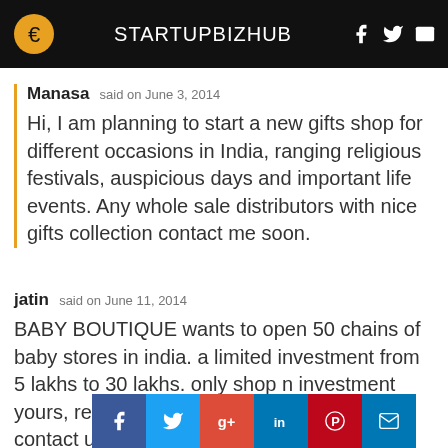STARTUPBIZHUB
Manasa said on June 3, 2014
Hi, I am planning to start a new gifts shop for different occasions in India, ranging religious festivals, auspicious days and important life events. Any whole sale distributors with nice gifts collection contact me soon.
jatin said on June 11, 2014
BABY BOUTIQUE wants to open 50 chains of baby stores in india. a limited investment from 5 lakhs to 30 lakhs. only shop n investment yours, rest all headache ours. feel free to contact us @